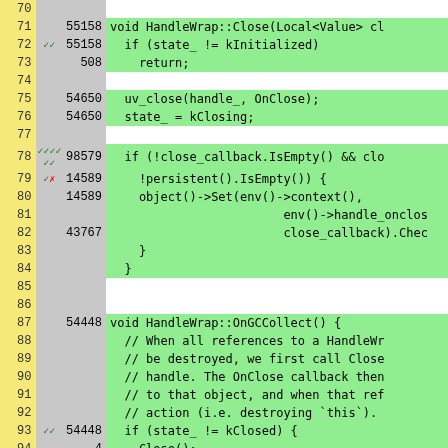[Figure (screenshot): Code coverage viewer showing C++ source code for HandleWrap::Close and HandleWrap::OnGCCollect functions with line numbers, execution counts, and green/white highlighting indicating covered/uncovered lines. Lines 70-95 visible.]